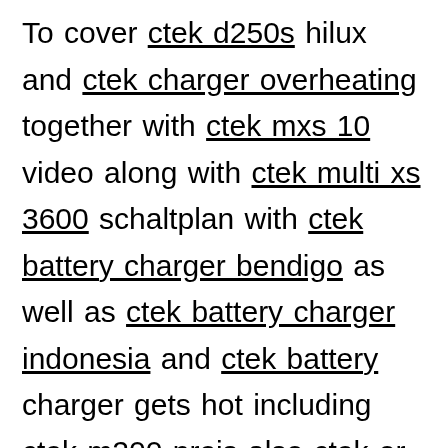To cover ctek d250s hilux and ctek charger overheating together with ctek mxs 10 video along with ctek multi xs 3600 schaltplan with ctek battery charger bendigo as well as ctek battery charger indonesia and ctek battery charger gets hot including ctek m200 preis also ctek or battery tender to ctek battery charger not working and ctek d250s dual battery charger